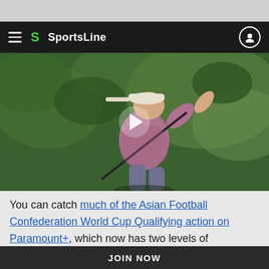SportsLine
[Figure (photo): A golfer in a pink/mauve polo shirt and white cap swings a golf club (follow-through position), with blurred green foliage in the background. A video play button overlay is centered on the image.]
You can catch much of the Asian Football Confederation World Cup Qualifying action on Paramount+, which now has two levels of membership so you can watch the hottest soccer matchups worldwide and much more. The
JOIN NOW